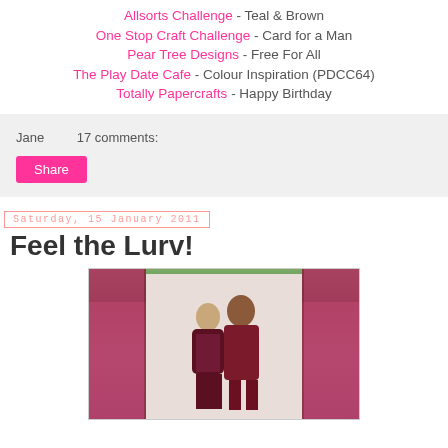Allsorts Challenge - Teal & Brown
One Stop Craft Challenge - Card for a Man
Pear Tree Designs - Free For All
The Play Date Cafe - Colour Inspiration (PDCC64)
Totally Papercrafts - Happy Birthday
Jane    17 comments:
Share
Saturday, 15 January 2011
Feel the Lurv!
[Figure (photo): A triptych-style greeting card showing a couple kissing, with decorative pink/dark red patterned side panels and a light center panel, photographed outdoors with green foliage in background.]